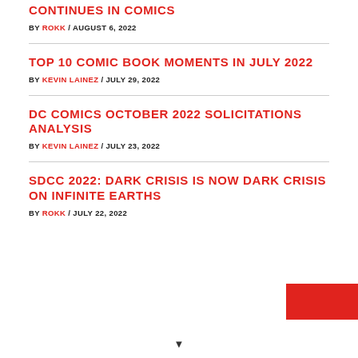CONTINUES IN COMICS
BY ROKK / AUGUST 6, 2022
TOP 10 COMIC BOOK MOMENTS IN JULY 2022
BY KEVIN LAINEZ / JULY 29, 2022
DC COMICS OCTOBER 2022 SOLICITATIONS ANALYSIS
BY KEVIN LAINEZ / JULY 23, 2022
SDCC 2022: DARK CRISIS IS NOW DARK CRISIS ON INFINITE EARTHS
BY ROKK / JULY 22, 2022